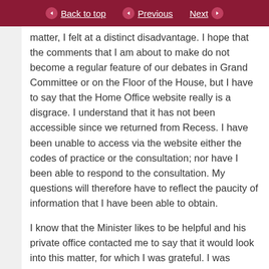Back to top | Previous | Next
matter, I felt at a distinct disadvantage. I hope that the comments that I am about to make do not become a regular feature of our debates in Grand Committee or on the Floor of the House, but I have to say that the Home Office website really is a disgrace. I understand that it has not been accessible since we returned from Recess. I have been unable to access via the website either the codes of practice or the consultation; nor have I been able to respond to the consultation. My questions will therefore have to reflect the paucity of information that I have been able to obtain.
I know that the Minister likes to be helpful and his private office contacted me to say that it would look into this matter, for which I was grateful. I was